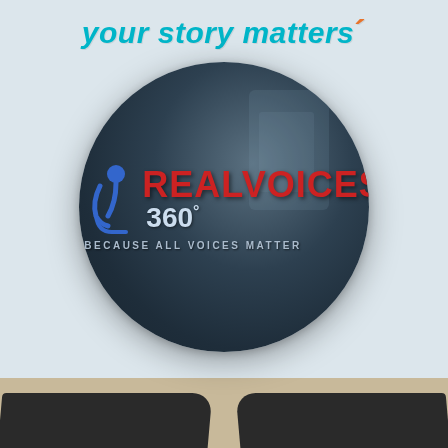your story matters
[Figure (logo): RealVoices 360 degree logo — circular dark blue-gray background with a blue microphone icon and red bold text 'REALVOICES' followed by '360°' in light blue-gray, and tagline 'BECAUSE ALL VOICES MATTER' below in white spaced letters.]
[Figure (photo): Bottom portion showing dark wooden planks/boards on a sandy tan background, partially visible, suggesting an outdoor or rustic setting.]